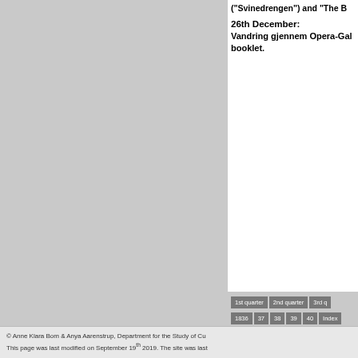("Svinedrengen") and "The B
26th December:
Vandring gjennem Opera-Gal booklet.
1st quarter
2nd quarter
3rd q
1836
37
38
39
40
Index
Search the timetable
© Anne Klara Bom & Anya Aarenstrup, Department for the Study of Cu
This page was last modified on September 19th 2019. The site was last